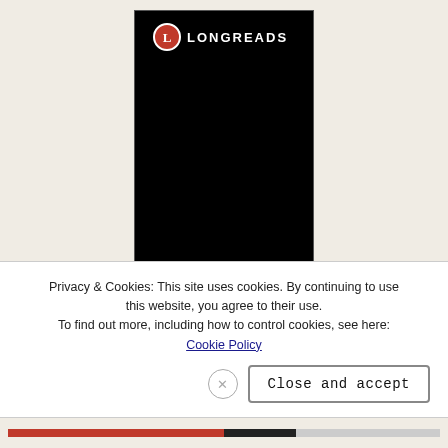[Figure (logo): Longreads promotional card with black background, Longreads logo at top, and partial text 'Read anything' visible at the bottom]
Privacy & Cookies: This site uses cookies. By continuing to use this website, you agree to their use. To find out more, including how to control cookies, see here: Cookie Policy
Close and accept